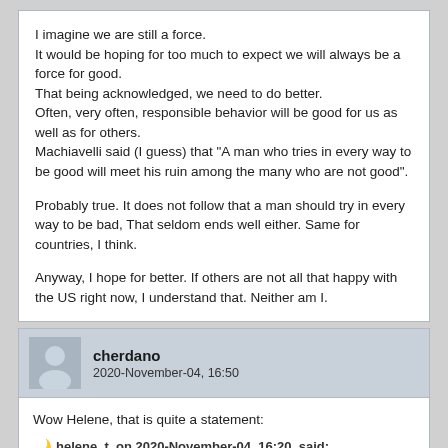I imagine we are still a force.
It would be hoping for too much to expect we will always be a force for good.
That being acknowledged, we need to do better.
Often, very often, responsible behavior will be good for us as well as for others.
Machiavelli said (I guess) that "A man who tries in every way to be good will meet his ruin among the many who are not good".

Probably true. It does not follow that a man should try in every way to be bad, That seldom ends well either. Same for countries, I think.

Anyway, I hope for better. If others are not all that happy with the US right now, I understand that. Neither am I.
cherdano
2020-November-04, 16:50
Wow Helene, that is quite a statement:
helene_t, on 2020-November-04, 16:20, said:
At the moment it seems to me that China is a force for good in the World...